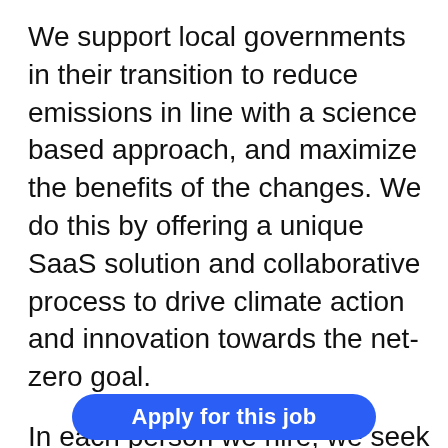We support local governments in their transition to reduce emissions in line with a science based approach, and maximize the benefits of the changes. We do this by offering a unique SaaS solution and collaborative process to drive climate action and innovation towards the net-zero goal.
In each person we hire, we seek a deep passion for tackling climate change and a determination to create impact -
Apply for this job